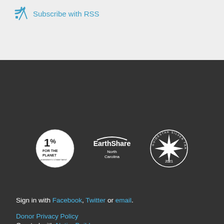Subscribe with RSS
[Figure (logo): 1% for the Planet logo]
[Figure (logo): EarthShare North Carolina logo]
[Figure (logo): GuideStar Silver Transparency 2021 badge]
Sign in with Facebook, Twitter or email.
Donor Privacy Policy
Created with NationBuilder
Follow @Sustain_CLT  Follow @Sustain_CLT on Twitter
[Figure (other): Social media icons row (Facebook, Twitter, etc.)]